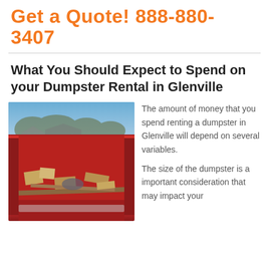Get a Quote! 888-880-3407
What You Should Expect to Spend on your Dumpster Rental in Glenville
[Figure (photo): Photograph of a red dumpster filled with debris including cardboard boxes, lumber, and other waste materials, with bare trees and a house visible in the background sky.]
The amount of money that you spend renting a dumpster in Glenville will depend on several variables.
The size of the dumpster is a important consideration that may impact your